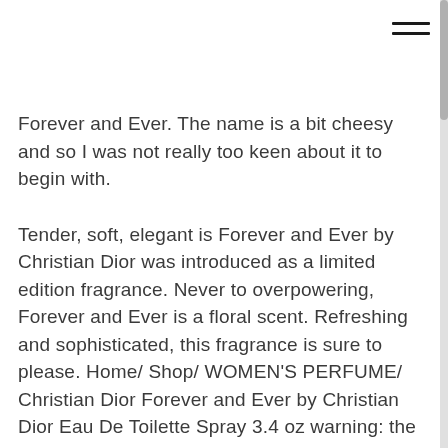Forever and Ever. The name is a bit cheesy and so I was not really too keen about it to begin with.
Tender, soft, elegant is Forever and Ever by Christian Dior was introduced as a limited edition fragrance. Never to overpowering, Forever and Ever is a floral scent. Refreshing and sophisticated, this fragrance is sure to please. Home/ Shop/ WOMEN'S PERFUME/ Christian Dior Forever and Ever by Christian Dior Eau De Toilette Spray 3.4 oz warning: the lists of ingredients that make up the composition of parfums christian dior products are regularly updated. before using a parfums christian dior